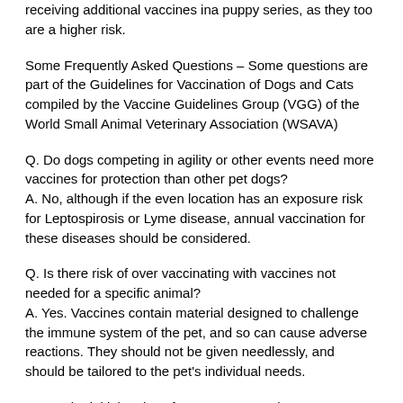receiving additional vaccines ina puppy series, as they too are a higher risk.
Some Frequently Asked Questions – Some questions are part of the Guidelines for Vaccination of Dogs and Cats compiled by the Vaccine Guidelines Group (VGG) of the World Small Animal Veterinary Association (WSAVA)
Q. Do dogs competing in agility or other events need more vaccines for protection than other pet dogs?
A. No, although if the even location has an exposure risk for Leptospirosis or Lyme disease, annual vaccination for these diseases should be considered.
Q. Is there risk of over vaccinating with vaccines not needed for a specific animal?
A. Yes. Vaccines contain material designed to challenge the immune system of the pet, and so can cause adverse reactions. They should not be given needlessly, and should be tailored to the pet's individual needs.
Q. Are the initial series of puppy core vaccines immunosuppressive?
A. Yes. This period of immunosuppression from MLV canine distemper and hepatitis vaccines coincides with the time of vaccine-induced